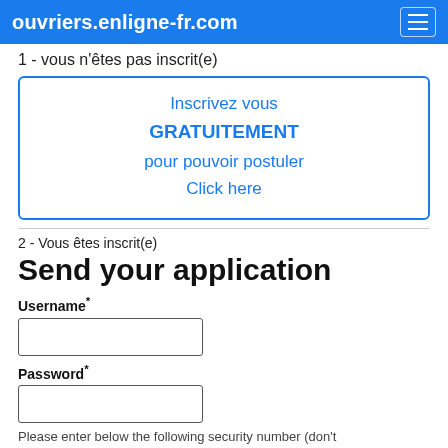ouvriers.enligne-fr.com
1 - vous n'êtes pas inscrit(e)
Inscrivez vous GRATUITEMENT pour pouvoir postuler Click here
2 - Vous êtes inscrit(e)
Send your application
Username*
Password*
Please enter below the following security number (don't